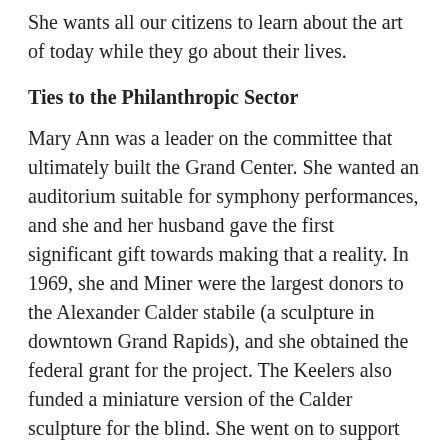She wants all our citizens to learn about the art of today while they go about their lives.
Ties to the Philanthropic Sector
Mary Ann was a leader on the committee that ultimately built the Grand Center. She wanted an auditorium suitable for symphony performances, and she and her husband gave the first significant gift towards making that a reality. In 1969, she and Miner were the largest donors to the Alexander Calder stabile (a sculpture in downtown Grand Rapids), and she obtained the federal grant for the project. The Keelers also funded a miniature version of the Calder sculpture for the blind. She went on to support many other sculptures in public places in Grand Rapids.
Mary Ann helped persuade the planners to build the Ford Museum downtown. She was on the board of directors of the Grand Rapids Symphony from 1952 to 1958, and organized the Grand Rapids Symphony...